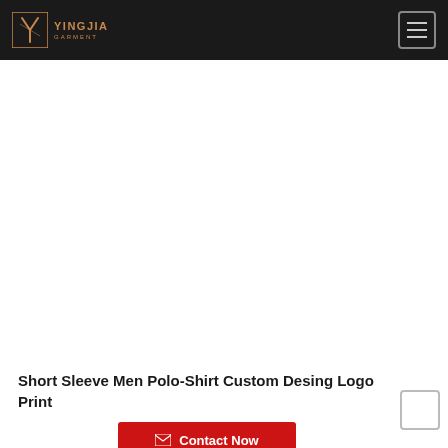YINGJIA GARMENT
[Figure (photo): Product image area showing a white polo shirt (Short Sleeve Men Polo-Shirt Custom Desing Logo Print) — image not rendered, white space placeholder]
Short Sleeve Men Polo-Shirt Custom Desing Logo Print